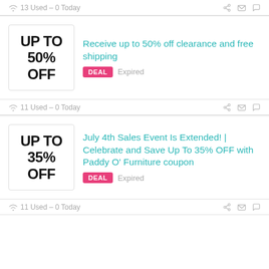13 Used - 0 Today
[Figure (infographic): Coupon badge showing UP TO 50% OFF]
Receive up to 50% off clearance and free shipping
DEAL  Expired
11 Used - 0 Today
[Figure (infographic): Coupon badge showing UP TO 35% OFF]
July 4th Sales Event Is Extended! | Celebrate and Save Up To 35% OFF with Paddy O' Furniture coupon
DEAL  Expired
11 Used - 0 Today